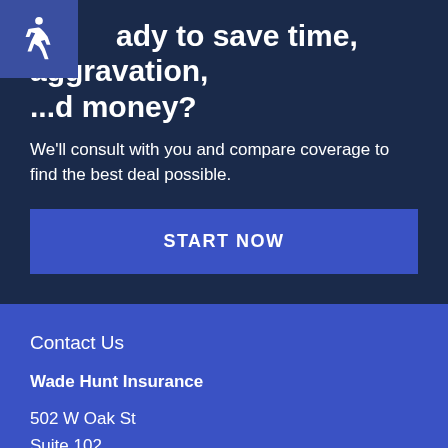Ready to save time, aggravation, and money?
We'll consult with you and compare coverage to find the best deal possible.
START NOW
Contact Us
Wade Hunt Insurance
502 W Oak St
Suite 102
Denton, Texas 76201